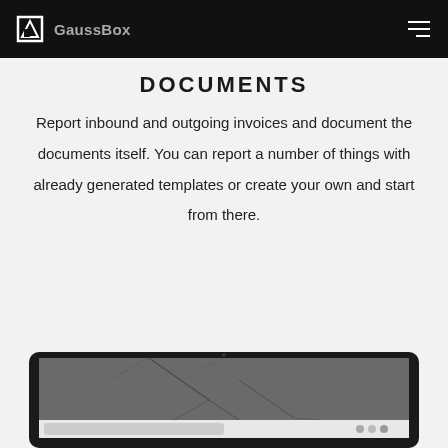GaussBox
DOCUMENTS
Report inbound and outgoing invoices and document the documents itself. You can report a number of things with already generated templates or create your own and start from there.
[Figure (screenshot): Laptop screen showing a dark background with cracked pavement texture and a browser/application interface at the bottom]